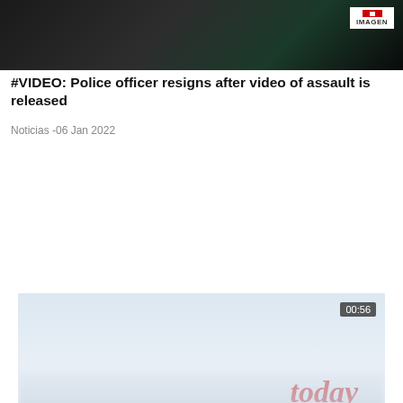[Figure (screenshot): Dark video thumbnail showing blurred/dark scene with IMAGEN logo badge in top right corner]
#VIDEO: Police officer resigns after video of assault is released
Noticias -06 Jan 2022
[Figure (screenshot): Video thumbnail showing light blue/white background with 'today' logo in red italic text on the right side, a blurred middle section, and below it a bodycam-style scene of a police officer standing next to a white car on a road with trees in background. Duration badge shows 00:56.]